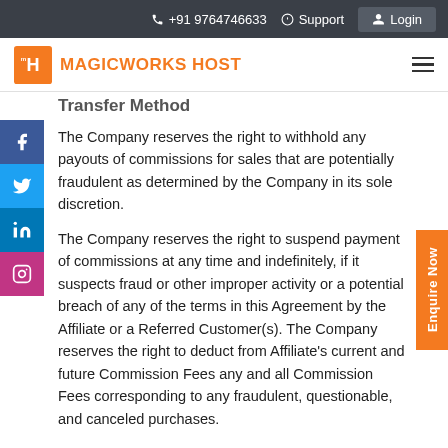+91 9764746633  Support  Login
MAGICWORKS HOST
Transfer Method
The Company reserves the right to withhold any payouts of commissions for sales that are potentially fraudulent as determined by the Company in its sole discretion.
The Company reserves the right to suspend payment of commissions at any time and indefinitely, if it suspects fraud or other improper activity or a potential breach of any of the terms in this Agreement by the Affiliate or a Referred Customer(s). The Company reserves the right to deduct from Affiliate's current and future Commission Fees any and all Commission Fees corresponding to any fraudulent, questionable, and canceled purchases.